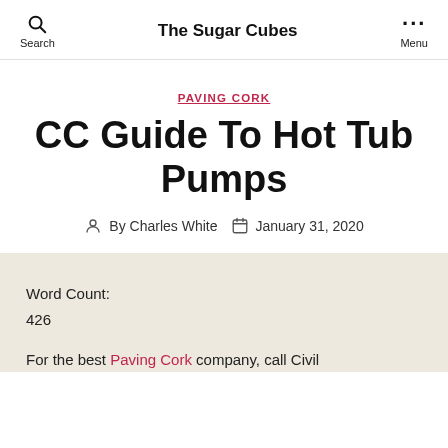The Sugar Cubes
PAVING CORK
CC Guide To Hot Tub Pumps
By Charles White  January 31, 2020
Word Count:
426
For the best Paving Cork company, call Civil